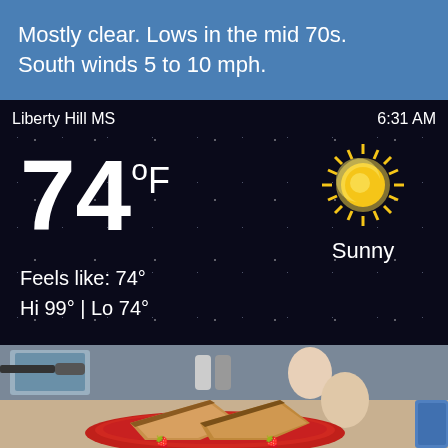Mostly clear. Lows in the mid 70s. South winds 5 to 10 mph.
[Figure (screenshot): Weather widget showing Liberty Hill MS, 6:31 AM, 74°F, Sunny, Feels like: 74°, Hi 99° | Lo 74°, with dark starfield background and sun icon]
[Figure (photo): Kitchen counter photo showing two eggs, two slices of toasted bread on a red plate, and kitchen background]